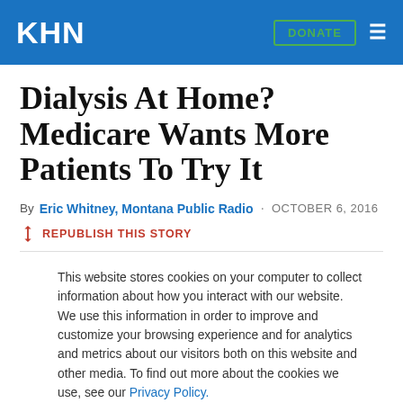KHN  DONATE  ☰
Dialysis At Home? Medicare Wants More Patients To Try It
By Eric Whitney, Montana Public Radio · OCTOBER 6, 2016
REPUBLISH THIS STORY
This website stores cookies on your computer to collect information about how you interact with our website. We use this information in order to improve and customize your browsing experience and for analytics and metrics about our visitors both on this website and other media. To find out more about the cookies we use, see our Privacy Policy.
Accept